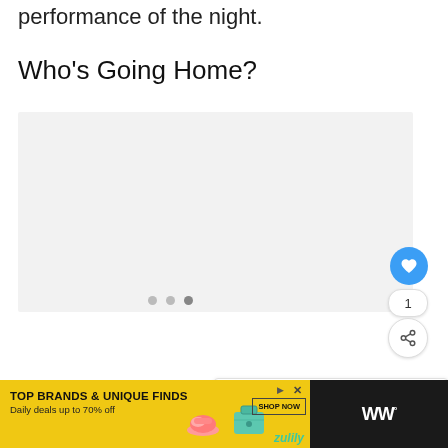performance of the night.
Who's Going Home?
[Figure (other): Embedded media player or image carousel with three navigation dots, light gray background. Social action buttons on the right: heart/like button (blue circle), count badge showing '1', and share button.]
[Figure (other): What's Next panel showing a circular thumbnail of a group photo and text 'WHAT'S NEXT → What Happened to...']
[Figure (other): Advertisement banner: yellow background with 'TOP BRANDS & UNIQUE FINDS' headline, 'Daily deals up to 70% off' subtext, shoe and bag product images, 'SHOP NOW' button, zulily logo. Right side dark background with Wt° logo.]